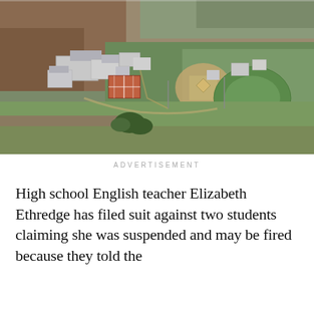[Figure (photo): Aerial photograph of a school campus surrounded by agricultural fields, showing school buildings with metal roofs, athletic facilities including tennis courts, baseball/softball fields, and green sports fields, set in a rural landscape.]
ADVERTISEMENT
High school English teacher Elizabeth Ethredge has filed suit against two students claiming she was suspended and may be fired because they told the